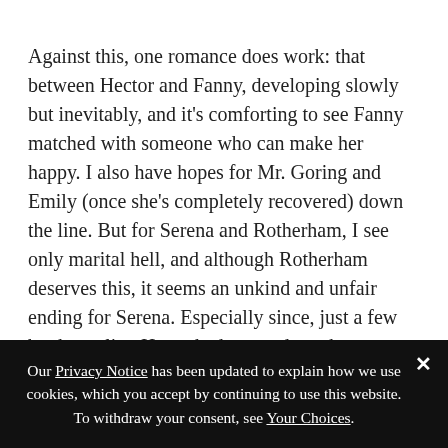Against this, one romance does work: that between Hector and Fanny, developing slowly but inevitably, and it's comforting to see Fanny matched with someone who can make her happy. I also have hopes for Mr. Goring and Emily (once she's completely recovered) down the line. But for Serena and Rotherham, I see only marital hell, and although Rotherham deserves this, it seems an unkind and unfair ending for Serena. Especially since, just a few books earlier, Heyer had rescued another heroine, from someone nowhere near as terrible, and given her to a kindly, sweet if not exactly bookish guy. I just wish, in her deconstruction of the love at first sight
Our Privacy Notice has been updated to explain how we use cookies, which you accept by continuing to use this website. To withdraw your consent, see Your Choices.